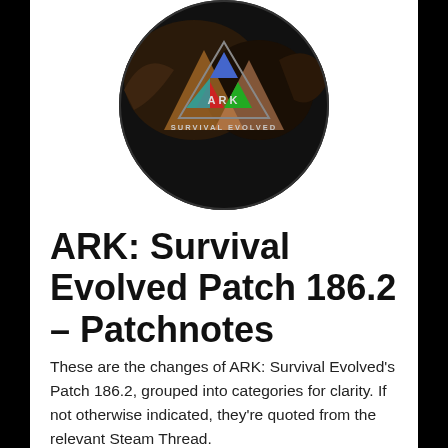[Figure (logo): ARK: Survival Evolved circular game logo with dinosaur imagery and colorful triangular ARK lettering on dark background]
ARK: Survival Evolved Patch 186.2 – Patchnotes
These are the changes of ARK: Survival Evolved's Patch 186.2, grouped into categories for clarity. If not otherwise indicated, they're quoted from the relevant Steam Thread.
Dino Changes
After being successfully Tamed, Tamed Dinos will now bias towards consuming the least nutritious